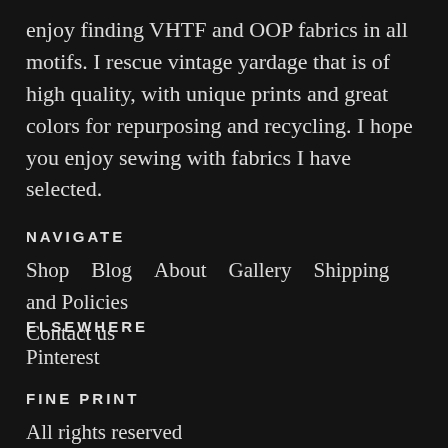enjoy finding VHTF and OOP fabrics in all motifs. I rescue vintage yardage that is of high quality, with unique prints and great colors for repurposing and recycling. I hope you enjoy sewing with fabrics I have selected.
NAVIGATE
Shop  Blog  About  Gallery  Shipping and Policies  Contact us
ELSEWHERE
Pinterest
FINE PRINT
All rights reserved
© 2022